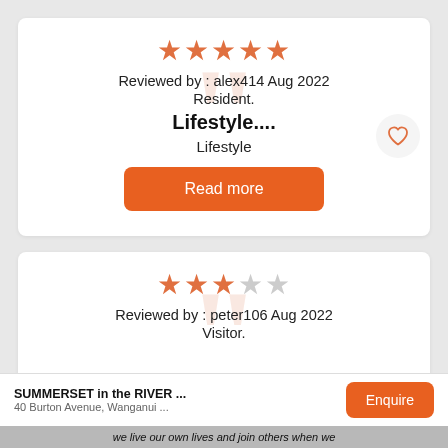★★★★★
Reviewed by : alex414 Aug 2022
Resident.
Lifestyle....
Lifestyle
Read more
★★★☆☆
Reviewed by : peter106 Aug 2022
Visitor.
SUMMERSET in the RIVER ...
40 Burton Avenue, Wanganui ...
Enquire
we live our own lives and join others when we